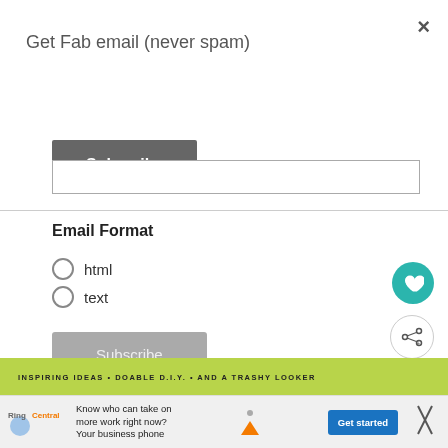Get Fab email (never spam)
Subscribe
Email Format
html
text
Subscribe
WHAT'S NEXT →
Clearwaters giveaway:....
WHAT'S POPULAR?
INSPIRING IDEAS • DOABLE D.I.Y. • AND A TRASHY LOOKER
Know who can take on more work right now? Your business phone
Get started